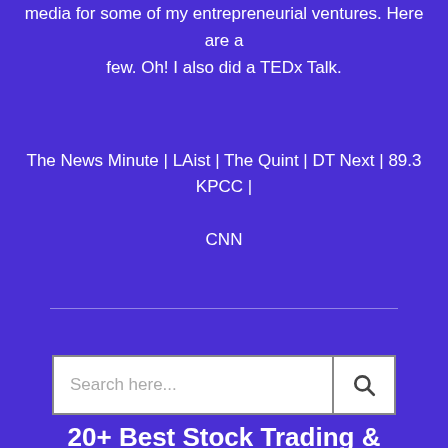media for some of my entrepreneurial ventures. Here are a few. Oh! I also did a TEDx Talk.
The News Minute | LAist | The Quint | DT Next | 89.3 KPCC | CNN
Search here...
20+ Best Stock Trading &